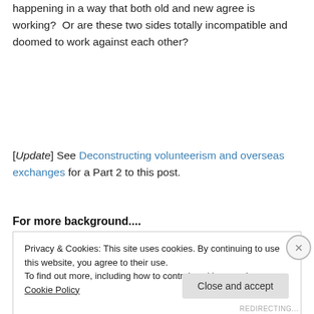happening in a way that both old and new agree is working?  Or are these two sides totally incompatible and doomed to work against each other?
[Update] See Deconstructing volunteerism and overseas exchanges for a Part 2 to this post.
For more background....
Privacy & Cookies: This site uses cookies. By continuing to use this website, you agree to their use.
To find out more, including how to control cookies, see here: Cookie Policy
REDIRECTING...